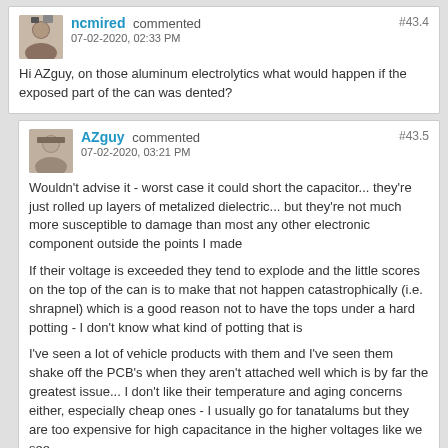ncmired commented #43.4 07-02-2020, 02:33 PM
Hi AZguy, on those aluminum electrolytics what would happen if the exposed part of the can was dented?
AZguy commented #43.5 07-02-2020, 03:21 PM
Wouldn't advise it - worst case it could short the capacitor... they're just rolled up layers of metalized dielectric... but they're not much more susceptible to damage than most any other electronic component outside the points I made
If their voltage is exceeded they tend to explode and the little scores on the top of the can is to make that not happen catastrophically (i.e. shrapnel) which is a good reason not to have the tops under a hard potting - I don't know what kind of potting that is
I've seen a lot of vehicle products with them and I've seen them shake off the PCB's when they aren't attached well which is by far the greatest issue... I don't like their temperature and aging concerns either, especially cheap ones - I usually go for tanatalums but they are too expensive for high capacitance in the higher voltages like we see